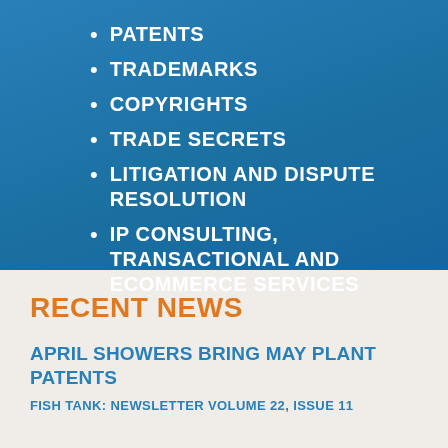PATENTS
TRADEMARKS
COPYRIGHTS
TRADE SECRETS
LITIGATION AND DISPUTE RESOLUTION
IP CONSULTING, TRANSACTIONAL AND ECOMMERCE SERVICES
RECENT NEWS
APRIL SHOWERS BRING MAY PLANT PATENTS
FISH TANK: NEWSLETTER VOLUME 22, ISSUE 11